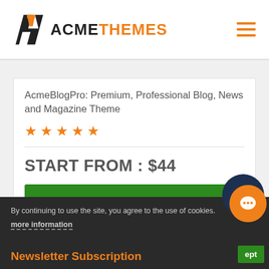[Figure (logo): AcmeThemes logo with stylized AT icon and orange/black text]
AcmeBlogPro: Premium, Professional Blog, News and Magazine Theme
★★★★★ (5 stars rating in orange)
START FROM : $44
Pricing Plans →
By continuing to use the site, you agree to the use of cookies.
more information
Newsletter Subscription